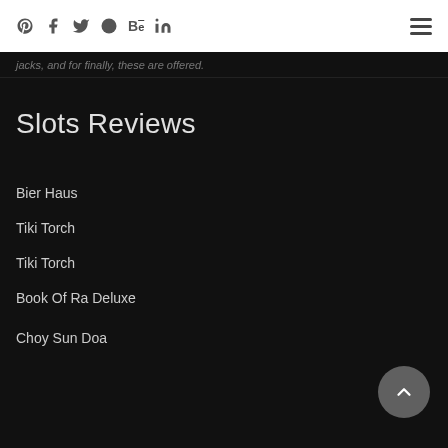Pinterest Facebook Twitter Dribbble Behance LinkedIn [hamburger menu]
jacks, and for finally, these are offered.
Slots Reviews
Bier Haus
Tiki Torch
Tiki Torch
Book Of Ra Deluxe
Choy Sun Doa